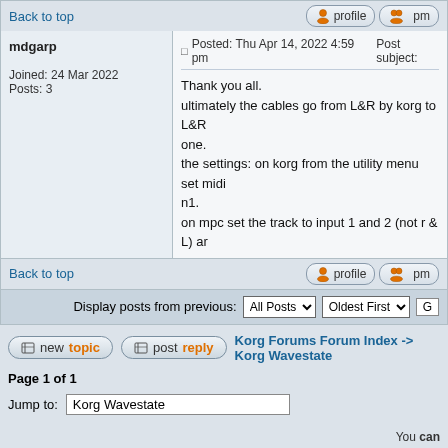Back to top | profile | pm
mdgarp
Joined: 24 Mar 2022
Posts: 3
Posted: Thu Apr 14, 2022 4:59 pm   Post subject:

Thank you all.
ultimately the cables go from L&R by korg to L&R one.
the settings: on korg from the utility menu set midi n1.
on mpc set the track to input 1 and 2 (not r & L) ar
Back to top | profile | pm
Display posts from previous: All Posts  Oldest First
newtopic   postreply   Korg Forums Forum Index -> Korg Wavestate
Page 1 of 1
Jump to: Korg Wavestate
You can
You ca
You car
You canne
You c
Powered by phpBB © 2001, 2005 phpBB Group